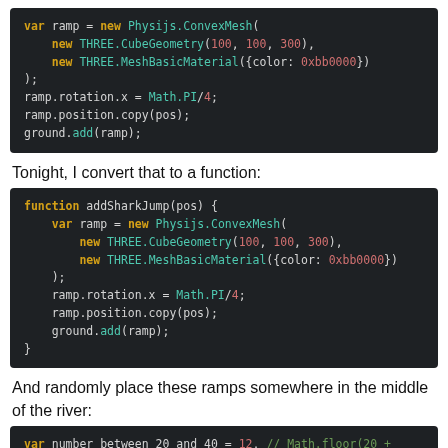[Figure (screenshot): Code block showing var ramp = new Physijs.ConvexMesh with THREE.CubeGeometry and THREE.MeshBasicMaterial, ramp rotation and position setup, ground.add(ramp)]
Tonight, I convert that to a function:
[Figure (screenshot): Code block showing function addSharkJump(pos) with var ramp = new Physijs.ConvexMesh, THREE.CubeGeometry, THREE.MeshBasicMaterial, ramp rotation, position copy, ground.add(ramp)]
And randomly place these ramps somewhere in the middle of the river:
[Figure (screenshot): Code block showing var number_between_20_and_40 = 12, // Math.floor(20 + ..., number_between_60_and_80 = Math.floor(60 + 20*Math..., addSharkJump(middle_river_points[number_between_20_an..., addSharkJump(middle_river_points[number_between_60_an...]